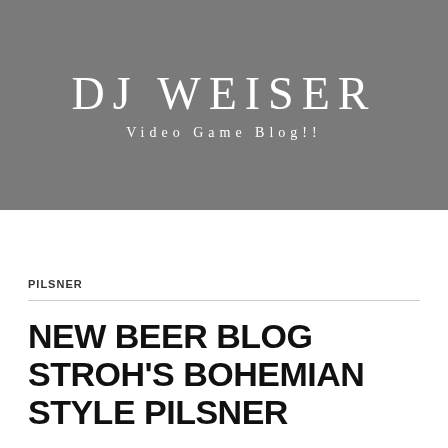DJ WEISER
Video Game Blog!!
MENU
PILSNER
NEW BEER BLOG STROH'S BOHEMIAN STYLE PILSNER